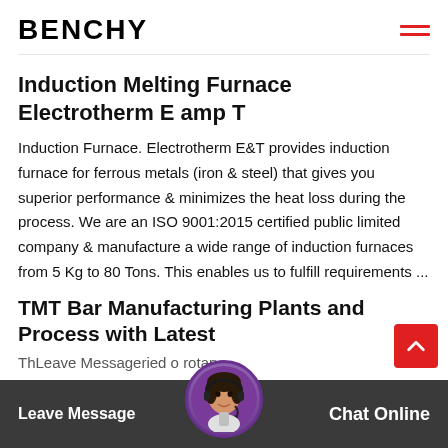BENCHY
Induction Melting Furnace Electrotherm E amp T
Induction Furnace. Electrotherm E&T provides induction furnace for ferrous metals (iron & steel) that gives you superior performance & minimizes the heat loss during the process. We are an ISO 9001:2015 certified public limited company & manufacture a wide range of induction furnaces from 5 Kg to 80 Tons. This enables us to fulfill requirements ...
TMT Bar Manufacturing Plants and Process with Latest
Th...ried o...rotary inclined and potatoes at a goodetermined course of ...
Leave Message   Chat Online